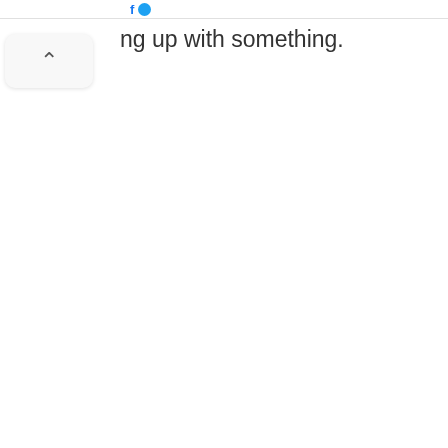[Figure (screenshot): Partial screenshot of a web page showing truncated text 'ng up with something.' and a collapse/chevron button in the upper left. Blue social media icons visible at the very top.]
ng up with something.